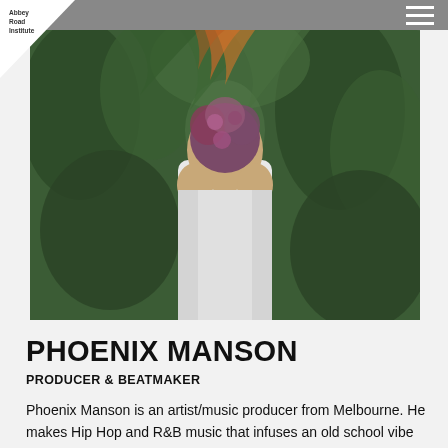Abbey Road Institute
[Figure (photo): Person standing in a greenhouse/botanical garden setting, holding a floral arrangement in front of their face, wearing a white shirt, surrounded by lush green plants. Photo appears as a banner/hero image.]
PHOENIX MANSON
PRODUCER & BEATMAKER
Phoenix Manson is an artist/music producer from Melbourne. He makes Hip Hop and R&B music that infuses an old school vibe with the modern new wave sound. Having graduated at the end of 2017, Phoenix has since released WAVELENGTH – EP, with toplining by Charlotte Adelle as a result. Phoenix was also an integral part of the Beat Collective Committee. Most noteworthy, he ran the